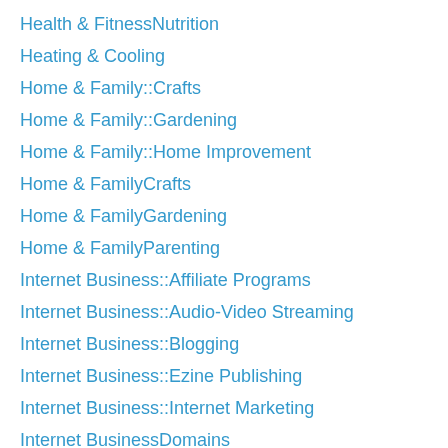Health & FitnessNutrition
Heating & Cooling
Home & Family::Crafts
Home & Family::Gardening
Home & Family::Home Improvement
Home & FamilyCrafts
Home & FamilyGardening
Home & FamilyParenting
Internet Business::Affiliate Programs
Internet Business::Audio-Video Streaming
Internet Business::Blogging
Internet Business::Ezine Publishing
Internet Business::Internet Marketing
Internet BusinessDomains